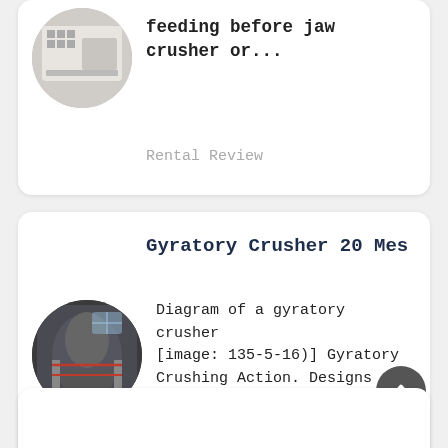[Figure (photo): Circular thumbnail of industrial crusher/mining equipment — white/grey machinery]
feeding before jaw crusher or...
Rental Review
Gyratory Crusher 20 Mes
[Figure (photo): Circular thumbnail of gyratory crusher machinery — dark metallic industrial equipment]
Diagram of a gyratory crusher [image: 135-5-16)] Gyratory Crushing Action. Designs of the...
Rental Review